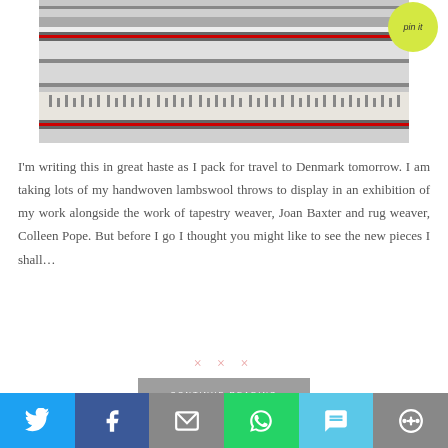[Figure (photo): A woven fabric/textile with horizontal stripes in grey, cream, and dark colors with a geometric pattern. A yellow-green circular 'pin it' badge overlays the top right corner.]
I'm writing this in great haste as I pack for travel to Denmark tomorrow. I am taking lots of my handwoven lambswool throws to display in an exhibition of my work alongside the work of tapestry weaver, Joan Baxter and rug weaver, Colleen Pope. But before I go I thought you might like to see the new pieces I shall…
× × ×
CONTINUE READING